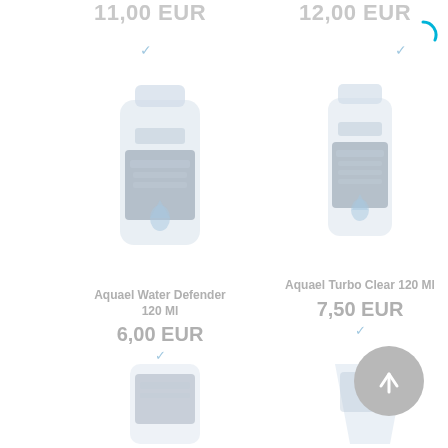11,00 EUR
12,00 EUR
[Figure (photo): Aquael Water Defender 120 Ml product bottle, faded/greyed out]
[Figure (photo): Aquael Turbo Clear 120 Ml product bottle, faded/greyed out]
Aquael Water Defender 120 Ml
6,00 EUR
Aquael Turbo Clear 120 Ml
7,50 EUR
[Figure (photo): Partial product image bottom left, faded out]
[Figure (photo): Partial product image bottom right, faded out]